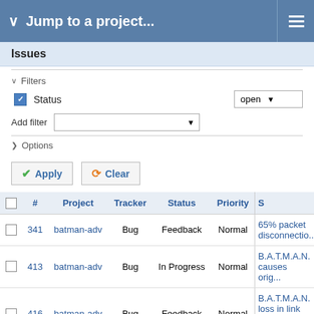Jump to a project...
Issues
Filters
Status  open
Add filter
Options
Apply   Clear
|  | # | Project | Tracker | Status | Priority | S |
| --- | --- | --- | --- | --- | --- | --- |
|  | 341 | batman-adv | Bug | Feedback | Normal | 65% packet disconnectio... |
|  | 413 | batman-adv | Bug | In Progress | Normal | B.A.T.M.A.N. causes orig... |
|  | 416 | batman-adv | Bug | Feedback | Normal | B.A.T.M.A.N. loss in link t... estimation |